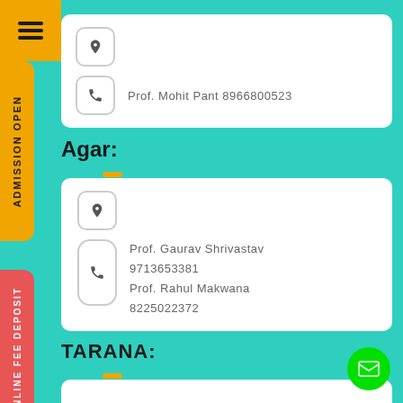[Figure (infographic): Top left yellow square with hamburger menu icon]
[Figure (infographic): Yellow vertical sidebar button with text ADMISSION OPEN]
[Figure (infographic): Red vertical sidebar button with text ONLINE FEE DEPOSIT]
Prof. Mohit Pant 8966800523
Agar:
Prof. Gaurav Shrivastav 9713653381 Prof. Rahul Makwana 8225022372
TARANA: